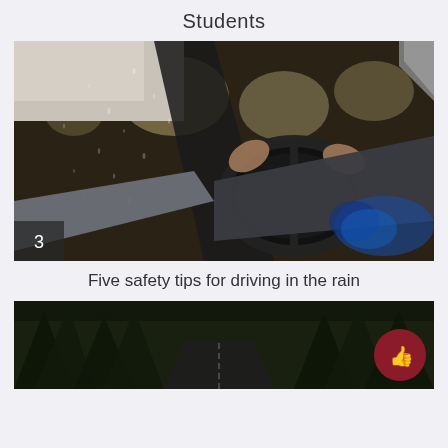Students
[Figure (photo): Person driving a car at night in the rain, view from inside the vehicle showing hands on steering wheel, rain drops on windshield, blurred city lights in background. Number badge '3' in bottom left corner.]
Five safety tips for driving in the rain
[Figure (photo): Dark forest road at night viewed from inside a car, green trees and dark road visible. A red circular like/thumbs-up button overlaid at bottom right.]